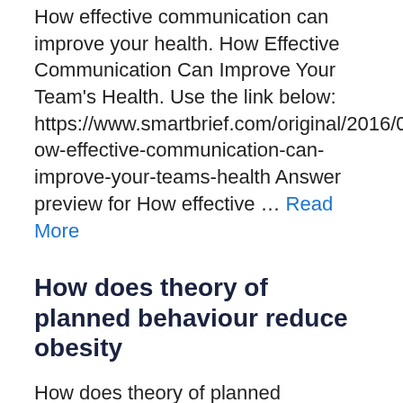How effective communication can improve your health. How Effective Communication Can Improve Your Team's Health. Use the link below: https://www.smartbrief.com/original/2016/04/how-effective-communication-can-improve-your-teams-health Answer preview for How effective … Read More
How does theory of planned behaviour reduce obesity
How does theory of planned behaviour reduce obesity Health or planned behaviour changes people's health behaviour. Develop a research question and Prepare a research project …